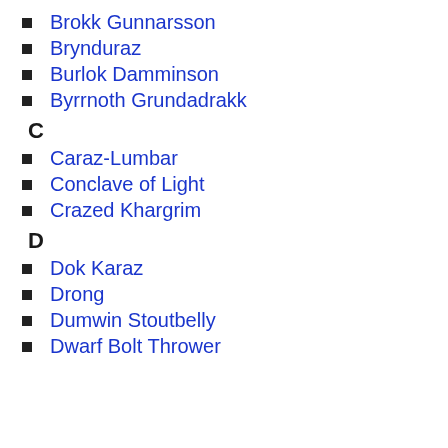Brokk Gunnarsson
Brynduraz
Burlok Damminson
Byrrnoth Grundadrakk
C
Caraz-Lumbar
Conclave of Light
Crazed Khargrim
D
Dok Karaz
Drong
Dumwin Stoutbelly
Dwarf Bolt Thrower